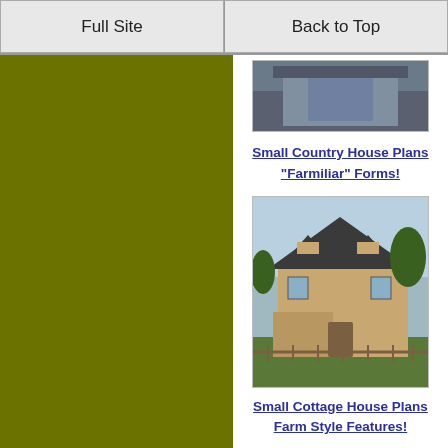Full Site | Back to Top
[Figure (photo): Photo of a small country house with dark trim, partially visible at top]
Small Country House Plans "Farmiliar" Forms!
[Figure (photo): Photo of a small cottage style house under construction, two-story with dormers and wraparound porch, surrounded by trees and a wooden fence]
Small Cottage House Plans Farm Style Features!